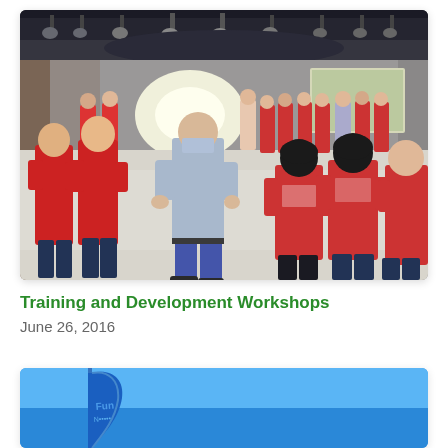[Figure (photo): Group of people wearing red t-shirts and sweatshirts standing in a circle on a shiny floor inside a large conference or event hall with stage lighting and a screen in the background. An older man in jeans and a light blue shirt stands in the center.]
Training and Development Workshops
June 26, 2016
[Figure (photo): Blue background with a white and blue banner/flag partially visible on the left side. The banner has text reading 'Fun' partially visible.]